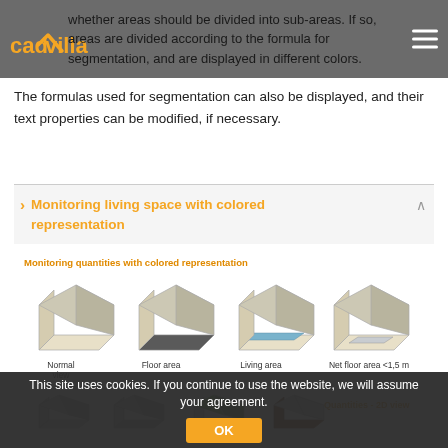cadvilla
whether areas should be divided into sub-areas. If so, areas are divided according to the formula for segmentation, and are displayed in different colors.
The formulas used for segmentation can also be displayed, and their text properties can be modified, if necessary.
Monitoring living space with colored representation
[Figure (illustration): Diagram showing monitoring quantities with colored representation: four 3D room shapes labeled Normal view, Floor area, Living area, Net floor area <1,5 m, and a partial row below with Quantities - 2D view text]
This site uses cookies. If you continue to use the website, we will assume your agreement.